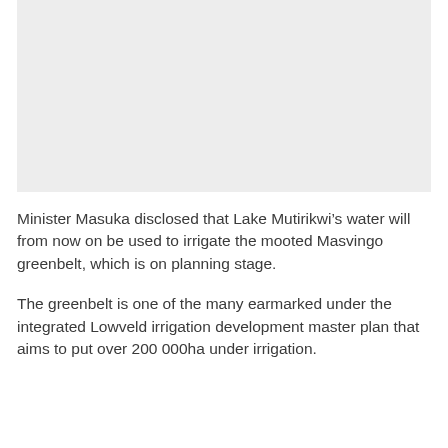[Figure (photo): A large grey/light image placeholder occupying the top portion of the page.]
Minister Masuka disclosed that Lake Mutirikwi’s water will from now on be used to irrigate the mooted Masvingo greenbelt, which is on planning stage.
The greenbelt is one of the many earmarked under the integrated Lowveld irrigation development master plan that aims to put over 200 000ha under irrigation.